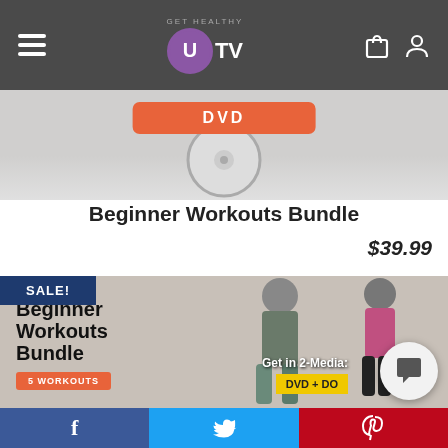[Figure (screenshot): Get Healthy U TV navigation bar with hamburger menu, purple U TV logo, shopping bag and user icons on dark gray background]
[Figure (screenshot): DVD badge button in orange/red color with text DVD]
Beginner Workouts Bundle
$39.99
[Figure (photo): Sale banner image showing two women exercising, with text Beginner Workouts Bundle, 5 WORKOUTS, Get in 2-Media:, DVD + DO..., SALE! badge in dark blue]
[Figure (screenshot): Social share bar with Facebook, Twitter, and Pinterest buttons at bottom of page]